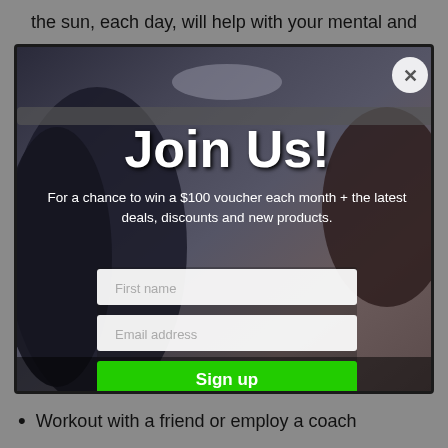the sun, each day, will help with your mental and
[Figure (screenshot): A modal popup overlay on a fitness website showing a tattooed person lifting weights in the background. The modal contains a 'Join Us!' headline, promotional text about winning a $100 voucher, input fields for first name and email address, and a green Sign up button. A circular close (X) button is in the top right corner.]
Workout with a friend or employ a coach